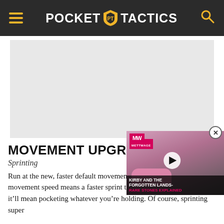POCKET TACTICS
[Figure (other): Advertisement placeholder - light gray block]
[Figure (other): Video overlay showing Kirby and the Forgotten Lands - Rare Stones Explained, with MW logo and play button]
MOVEMENT UPGR...
Sprinting
Run at the new, faster default movement speed. A faster default movement speed means a faster sprint too! This sprint is so fast that it'll mean pocketing whatever you're holding. Of course, sprinting super